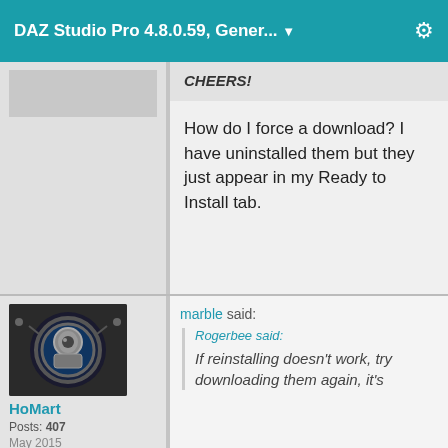DAZ Studio Pro 4.8.0.59, Gener...
CHEERS!
How do I force a download? I have uninstalled them but they just appear in my Ready to Install tab.
[Figure (photo): Sci-fi robot/character avatar in a circular metallic tunnel]
HoMart
Posts: 407
May 2015
marble said:
Rogerbee said:
If reinstalling doesn't work, try downloading them again, it's